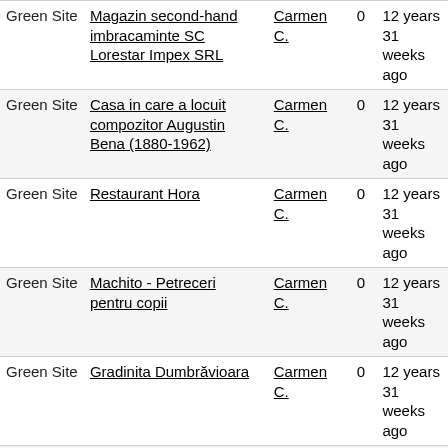|  | Title | Author | Replies | Last post |
| --- | --- | --- | --- | --- |
| Green Site | Magazin second-hand imbracaminte SC Lorestar Impex SRL | Carmen C. | 0 | 12 years 31 weeks ago |
| Green Site | Casa in care a locuit compozitor Augustin Bena (1880-1962) | Carmen C. | 0 | 12 years 31 weeks ago |
| Green Site | Restaurant Hora | Carmen C. | 0 | 12 years 31 weeks ago |
| Green Site | Machito - Petreceri pentru copii | Carmen C. | 0 | 12 years 31 weeks ago |
| Green Site | Gradinita Dumbrăvioara | Carmen C. | 0 | 12 years 31 weeks ago |
| Green Site | Gradinita Paradisul prichindeilor | Carmen C. | 0 | 12 years 32 weeks ago |
| Green Site | Magazin imbracaminte second-hand SC Daianira SRL | Carmen C. | 0 | 12 years 32 weeks ago |
| Green Site | Liceul Teoretic Lucian Blaga, Scoala generala clasele 1-6, 7-12 | Carmen C. | 0 | 12 years 32 weeks ago |
| Green Site | Magazin second-hand imbracaminte Denisa | Carmen C. | 0 | 12 years 32 weeks ago |
« first  ‹ previous  1  2  3  4  5